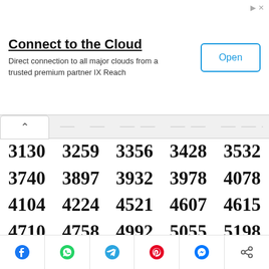[Figure (screenshot): Advertisement banner: 'Connect to the Cloud' with description 'Direct connection to all major clouds from a trusted premium partner IX Reach' and an 'Open' button.]
| 3130 | 3259 | 3356 | 3428 | 3532 |
| 3740 | 3897 | 3932 | 3978 | 4078 |
| 4104 | 4224 | 4521 | 4607 | 4615 |
| 4710 | 4758 | 4992 | 5055 | 5198 |
| 5494 | 5662 | 5804 | 5851 | 5913 |
| 6217 | 6250 | 6329 | 6415 | 6546 |
| 6604 | 6864 | 7026 | 7135 | 7140 |
[Figure (screenshot): Social share bar with icons: Facebook, WhatsApp, Telegram, Pinterest, Messenger, and generic share icon.]